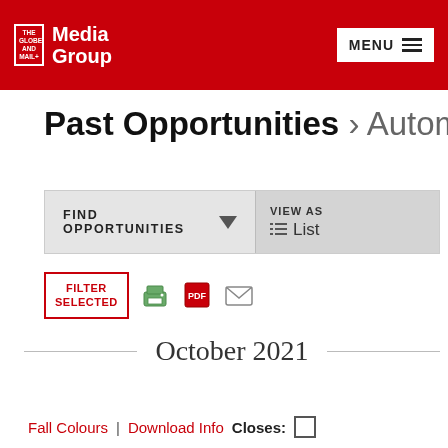The Globe and Mail Media Group — MENU
Past Opportunities › Automotive
FIND OPPORTUNITIES ▼
VIEW AS List
FILTER SELECTED
October 2021
Fall Colours | Download Info  Closes: